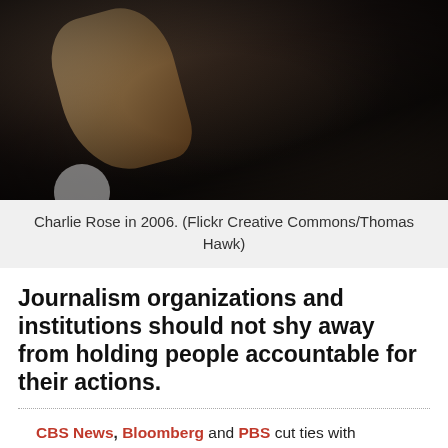[Figure (photo): Dark moody photograph of Charlie Rose in 2006, partially visible figure in low light]
Charlie Rose in 2006. (Flickr Creative Commons/Thomas Hawk)
Journalism organizations and institutions should not shy away from holding people accountable for their actions.
CBS News, Bloomberg and PBS cut ties with Charlie Rose on Tuesday after numerous reports of sexual misconduct. The allegations, which were first reported in The Washington Post, are the latest to strike a major figure in the world of journalism.